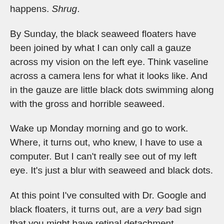happens. Shrug.
By Sunday, the black seaweed floaters have been joined by what I can only call a gauze across my vision on the left eye. Think vaseline across a camera lens for what it looks like. And in the gauze are little black dots swimming along with the gross and horrible seaweed.
Wake up Monday morning and go to work. Where, it turns out, who knew, I have to use a computer. But I can't really see out of my left eye. It's just a blur with seaweed and black dots.
At this point I've consulted with Dr. Google and black floaters, it turns out, are a very bad sign that you might have retinal detachment.
So I call around to find an ophthalmologist to take a look. And I have a headache from one eye being all